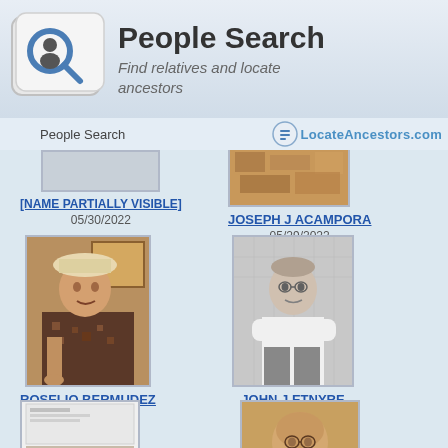People Search — Find relatives and locate ancestors
People Search   LocateAncestors.com
[Figure (photo): Partially visible person photo (cropped at top), name partially visible, date 05/30/2022]
[Figure (photo): Photo of Joseph J Acampora, a group/food photo]
JOSEPH J ACAMPORA
05/29/2022
[Figure (photo): Portrait photo of Roselio Bermudez wearing a patterned jacket and hat]
ROSELIO BERMUDEZ
05/24/2022
[Figure (photo): Black and white photo of John J Etnyre standing with arms crossed]
JOHN J ETNYRE
05/10/2022
[Figure (photo): Partially visible photo card at bottom left]
[Figure (photo): Partially visible portrait photo at bottom right, sepia tone]